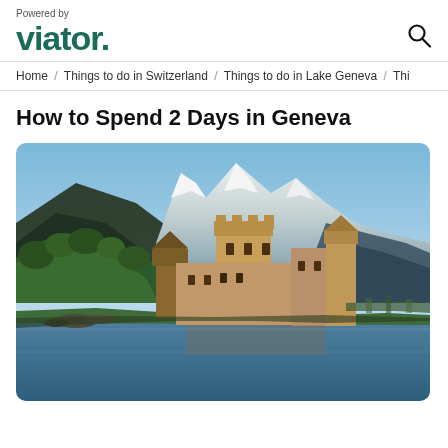Powered by viator.
Home / Things to do in Switzerland / Things to do in Lake Geneva / Thi
How to Spend 2 Days in Geneva
[Figure (photo): Chillon Castle on Lake Geneva with snow-capped Alps in the background. A medieval stone castle sits on the edge of a calm lake, with green forested hills to the left and dramatic Alpine peaks behind.]